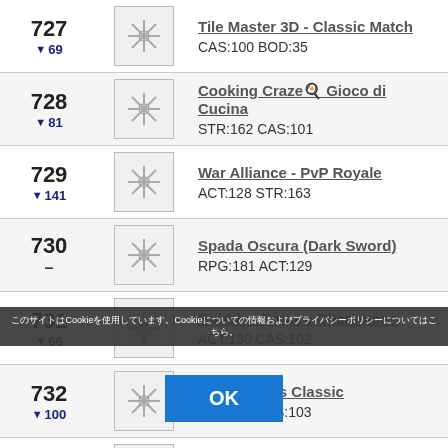| Rank | Icon | App |
| --- | --- | --- |
| 727 ▼69 |  | Tile Master 3D - Classic Match
CAS:100 BOD:35 |
| 728 ▼81 |  | Cooking Craze🍳 Gioco di Cucina
STR:162 CAS:101 |
| 729 ▼141 |  | War Alliance - PvP Royale
ACT:128 STR:163 |
| 730 – |  | Spada Oscura (Dark Sword)
RPG:181 ACT:129 |
| 731 ▼66 |  | Bubbles Empire Champions
ACT:130 CAS:102 |
| 732 ▼100 |  | Bowmasters Classic
ACT:131 CAS:103 |
| 733 ▼193 |  | My Heroes: Dungeon Raid
RPG:182 AC... |
| 734 |  | Gaminator 777 - Slot da casinò |
Cookie consent overlay with OK button